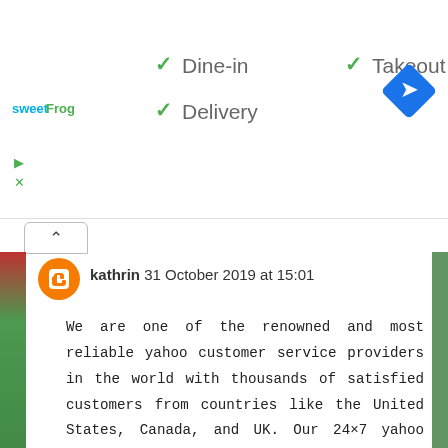[Figure (logo): sweetFrog logo in blue and green text]
✓ Dine-in  ✓ Takeout
✓ Delivery
[Figure (illustration): Blue diamond-shaped Google Maps navigation icon with white arrow]
[Figure (illustration): Caret up (^) collapse button]
kathrin  31 October 2019 at 15:01

We are one of the renowned and most reliable yahoo customer service providers in the world with thousands of satisfied customers from countries like the United States, Canada, and UK. Our 24×7 yahoo customer service Help and support has earned enormous popularity in the last few years. You can contact us anytime, our technicians love to help you, our site